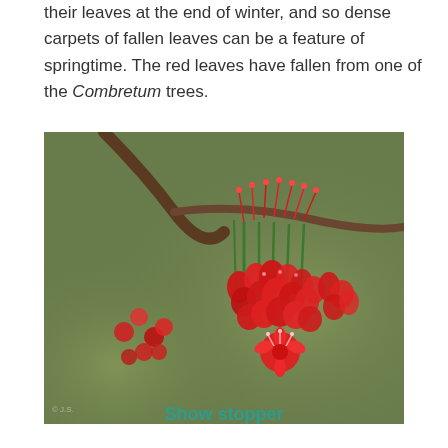their leaves at the end of winter, and so dense carpets of fallen leaves can be a feature of springtime. The red leaves have fallen from one of the Combretum trees.
[Figure (photo): Close-up photograph of bright red Combretum flower buds and blooms on a branch, with a blurred green background.]
Show stopper